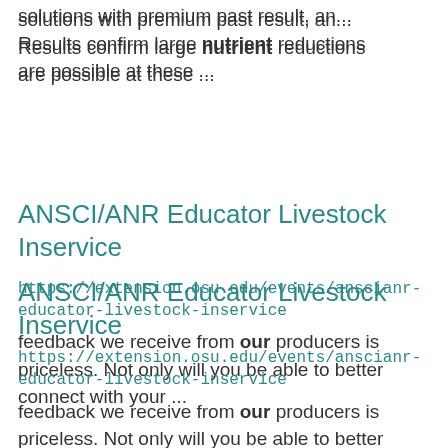solutions with premium past result. Results confirm large nutrient reductions are possible at these ...
ANSCI/ANR Educator Livestock Inservice
https://extension.osu.edu/events/anscianr-educator-livestock-inservice
feedback we receive from our producers is priceless. Not only will you be able to better connect with your ...
FABE Open House
https://fabe.osu.edu/events/fabe-open-house-0
FABE Open House will host a number of